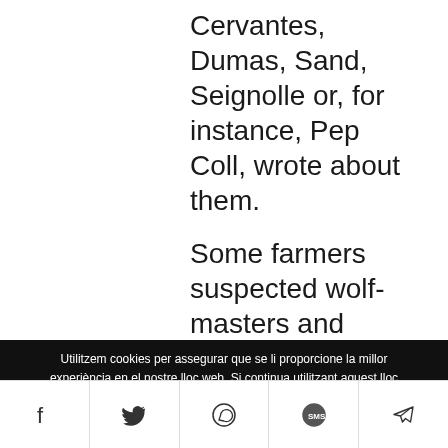Cervantes, Dumas, Sand, Seignolle or, for instance, Pep Coll, wrote about them.
Some farmers suspected wolf-masters and often took them for impostors, or
Utilitzem cookies per assegurar que se li proporcione la millor experiència en el nostre lloc web. Si continua utilitzant aquest lloc
[Figure (other): Social sharing bar with icons for Facebook, Twitter, WhatsApp, SMS, and Telegram]